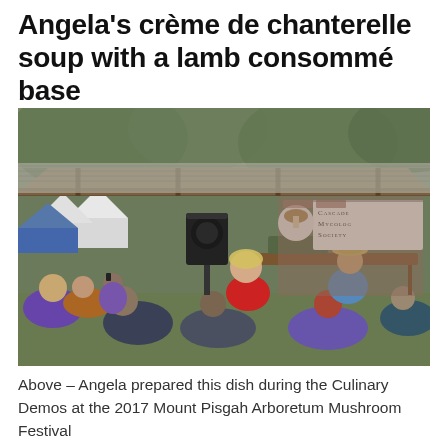Angela's crème de chanterelle soup with a lamb consommé base
[Figure (photo): Outdoor culinary demonstration under a wooden shelter roof. A woman in a red shirt stands at a table with cooking equipment. A person in a hat and blue vest pours from a container. Audience members sit and watch. A banner reading 'Cascade Mycology Society' is visible in the background. Trees and white tents are visible in the far background.]
Above – Angela prepared this dish during the Culinary Demos at the 2017 Mount Pisgah Arboretum Mushroom Festival